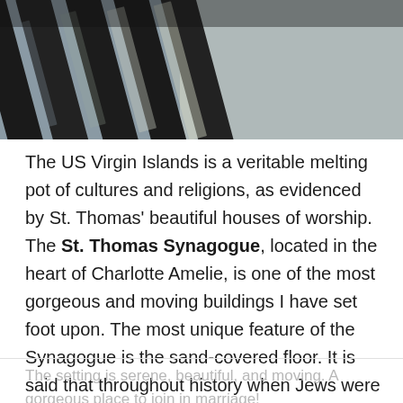[Figure (photo): Close-up photo of dark wooden fence or railing slats with light sandy or water background visible between the slats]
The US Virgin Islands is a veritable melting pot of cultures and religions, as evidenced by St. Thomas' beautiful houses of worship. The St. Thomas Synagogue, located in the heart of Charlotte Amelie, is one of the most gorgeous and moving buildings I have set foot upon. The most unique feature of the Synagogue is the sand-covered floor. It is said that throughout history when Jews were forced to convert to Catholicism, they would pray in their basements, and muffle the sounds with sand.
The setting is serene, beautiful, and moving. A gorgeous place to join in marriage!